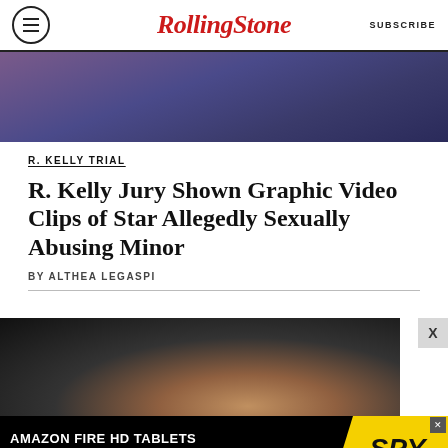RollingStone SUBSCRIBE
[Figure (photo): Top portion of a photo showing a person in a blue jacket against a colorful background]
R. KELLY TRIAL
R. Kelly Jury Shown Graphic Video Clips of Star Allegedly Sexually Abusing Minor
BY ALTHEA LEGASPI
[Figure (photo): Black and white photo of a middle-aged man with gray hair against a dark background]
[Figure (infographic): Advertisement banner: AMAZON FIRE HD TABLETS JUST $45 RIGHT NOW / SPY]